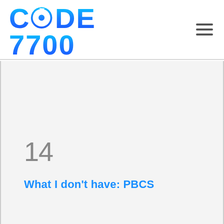CODE 7700
14
What I don't have: PBCS